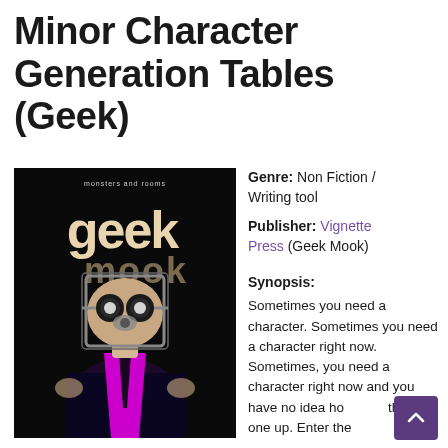Minor Character Generation Tables (Geek)
[Figure (illustration): Cover of Geek Mook book — black background with stylized text 'geek mook' and a figure of a person in a suit with a gas mask/mechanical head, wearing a bright magenta/purple shirt and black tie. Small text at top reads 'monsters and rooms'.]
Genre: Non Fiction / Writing tool
Publisher: Vignette Press (Geek Mook)
Synopsis:
Sometimes you need a character. Sometimes you need a character right now. Sometimes, you need a character right now and you have no idea how to think one up. Enter the